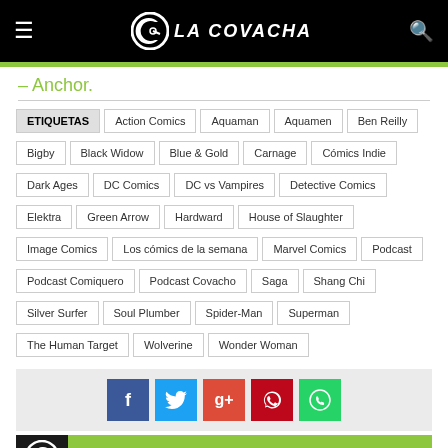LA COVACHA
– Anchor.
ETIQUETAS, Action Comics, Aquaman, Aquamen, Ben Reilly, Bigby, Black Widow, Blue & Gold, Carnage, Cómics Indie, Dark Ages, DC Comics, DC vs Vampires, Detective Comics, Elektra, Green Arrow, Hardward, House of Slaughter, Image Comics, Los cómics de la semana, Marvel Comics, Podcast, Podcast Comiquero, Podcast Covacho, Saga, Shang Chi, Silver Surfer, Soul Plumber, Spider-Man, Superman, The Human Target, Wolverine, Wonder Woman
[Figure (infographic): Social sharing buttons: Facebook (blue), Twitter (light blue), Google+ (red), Pinterest (dark red), WhatsApp (green)]
REDACCIÓN LA COVACHA